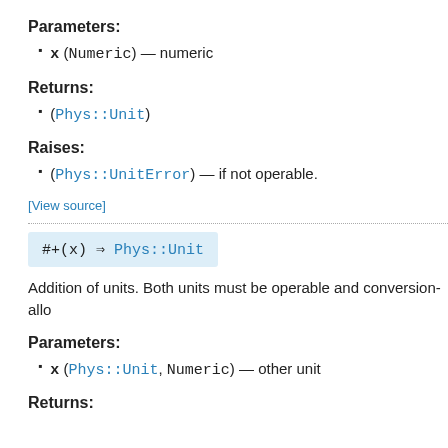Parameters:
x (Numeric) — numeric
Returns:
(Phys::Unit)
Raises:
(Phys::UnitError) — if not operable.
[View source]
#+(x) ⇒ Phys::Unit
Addition of units. Both units must be operable and conversion-allo
Parameters:
x (Phys::Unit, Numeric) — other unit
Returns: